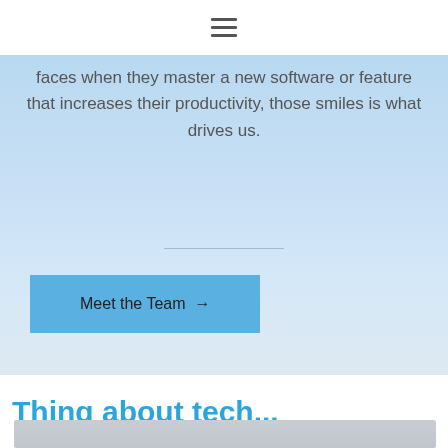[Figure (other): Hamburger menu icon (three horizontal lines) centered in white navigation bar]
faces when they master a new software or feature that increases their productivity, those smiles is what drives us.
[Figure (other): Horizontal divider line]
Meet the Team →
Thinq about tech...
[Figure (photo): Light gray image placeholder at bottom of page]